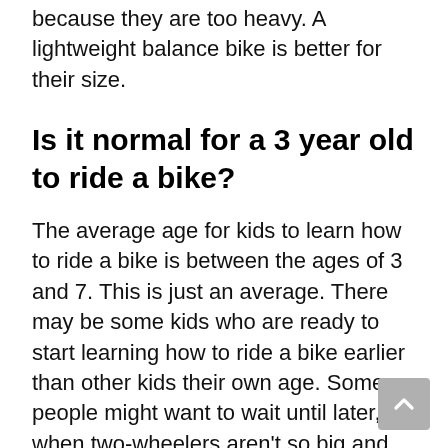because they are too heavy. A lightweight balance bike is better for their size.
Is it normal for a 3 year old to ride a bike?
The average age for kids to learn how to ride a bike is between the ages of 3 and 7. This is just an average. There may be some kids who are ready to start learning how to ride a bike earlier than other kids their own age. Some people might want to wait until later, when two-wheelers aren't so big and scary.
How do I teach my 3 year old to